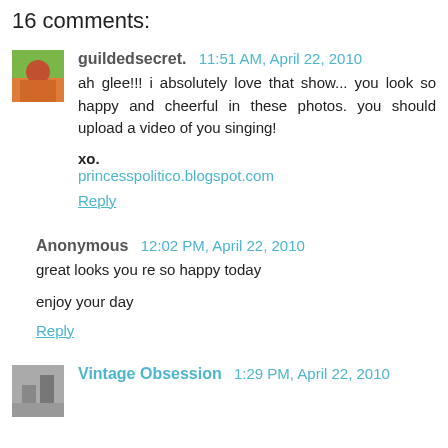16 comments:
guildedsecret.  11:51 AM, April 22, 2010
ah glee!!! i absolutely love that show... you look so happy and cheerful in these photos. you should upload a video of you singing!

xo.
princesspolitico.blogspot.com
Reply
Anonymous  12:02 PM, April 22, 2010
great looks you re so happy today

enjoy your day
Reply
Vintage Obsession  1:29 PM, April 22, 2010